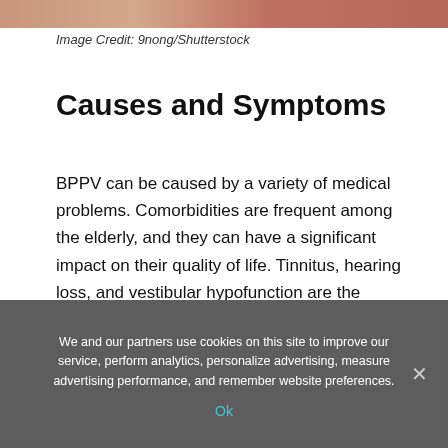[Figure (photo): Top portion of a person's image, cropped at top of page]
Image Credit: 9nong/Shutterstock
Causes and Symptoms
BPPV can be caused by a variety of medical problems. Comorbidities are frequent among the elderly, and they can have a significant impact on their quality of life. Tinnitus, hearing loss, and vestibular hypofunction are the prevalent neurotological problems associated with dizziness and balance issues in the elderly.
We and our partners use cookies on this site to improve our service, perform analytics, personalize advertising, measure advertising performance, and remember website preferences.
Ok